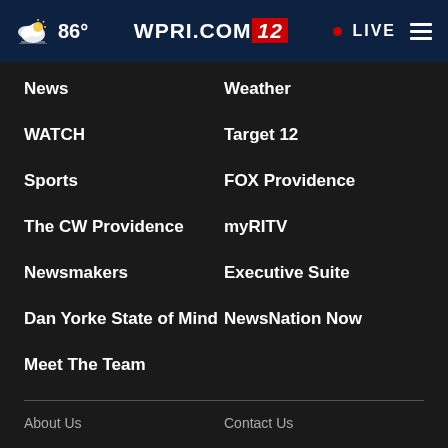86° WPRI.COM 12 • LIVE
News
Weather
WATCH
Target 12
Sports
FOX Providence
The CW Providence
myRITV
Newsmakers
Executive Suite
Dan Yorke State of Mind
NewsNation Now
Meet The Team
About Us    Contact Us